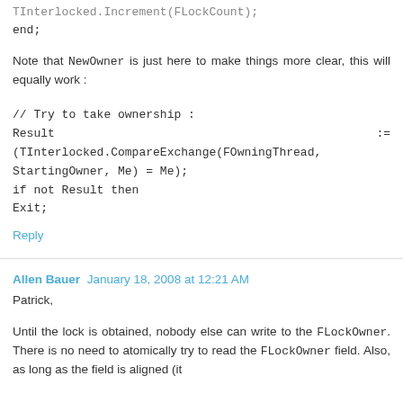TInterlocked.Increment(FLockCount);
end;
Note that NewOwner is just here to make things more clear, this will equally work :
// Try to take ownership :
Result := (TInterlocked.CompareExchange(FOwningThread, StartingOwner, Me) = Me);
if not Result then
Exit;
Reply
Allen Bauer  January 18, 2008 at 12:21 AM
Patrick,
Until the lock is obtained, nobody else can write to the FLockOwner. There is no need to atomically try to read the FLockOwner field. Also, as long as the field is aligned (it